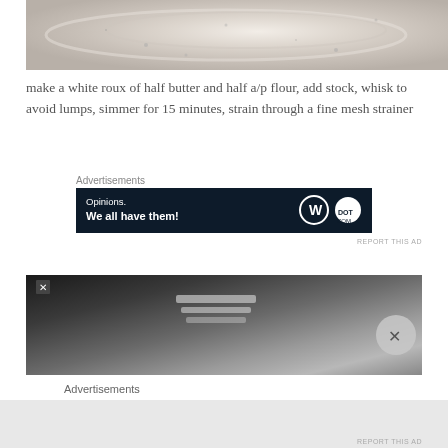[Figure (photo): Close-up photo of a white roux or cream sauce in a bowl, showing smooth creamy texture with small specks]
make a white roux of half butter and half a/p flour, add stock, whisk to avoid lumps, simmer for 15 minutes, strain through a fine mesh strainer
Advertisements
[Figure (screenshot): Advertisement banner with dark navy background reading 'Opinions. We all have them!' with WordPress and dotcom logos]
REPORT THIS AD
[Figure (photo): Close-up photo of cooking utensils, appears to show a spoon or ladle with metallic reflections]
Advertisements
REPORT THIS AD